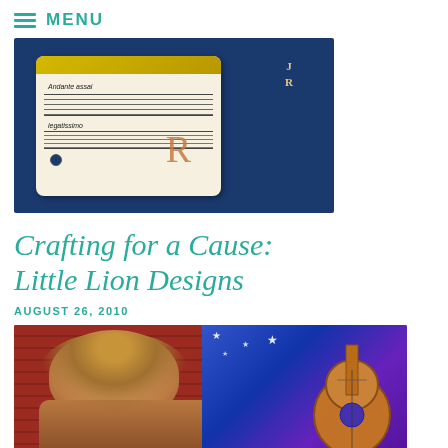MENU
[Figure (photo): Close-up photo of handcrafted jewelry tags on a blue background. One tag features printed sheet music with 'Andante' and 'legatissimo' text, a hole punch, and a copper letter R. Another dark tag with letters J and R is visible in the upper right.]
Crafting for a Cause: Little Lion Designs
AUGUST 26, 2010
[Figure (photo): Photo of a smiling woman with wavy blonde hair in front of a red slatted background. Behind her on the right is a colorful painting of an acoustic guitar with stars and swirls in blue and purple tones.]